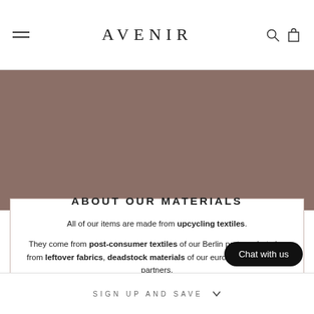AVENIR
[Figure (photo): Brown/taupe colored hero image area serving as a banner photograph background]
ABOUT OUR MATERIALS
All of our items are made from upcycling textiles.
They come from post-consumer textiles of our Berlin partners but also from leftover fabrics, deadstock materials of our european sustainable partners.
SIGN UP AND SAVE